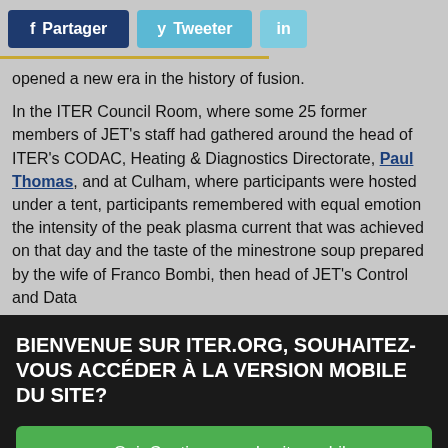[Figure (other): Social share buttons: f Partager (Facebook, dark blue), y Tweeter (Twitter, light blue), in (LinkedIn, light blue)]
opened a new era in the history of fusion.
In the ITER Council Room, where some 25 former members of JET's staff had gathered around the head of ITER's CODAC, Heating & Diagnostics Directorate, Paul Thomas, and at Culham, where participants were hosted under a tent, participants remembered with equal emotion the intensity of the peak plasma current that was achieved on that day and the taste of the minestrone soup prepared by the wife of Franco Bombi, then head of JET's Control and Data
BIENVENUE SUR ITER.ORG, SOUHAITEZ-VOUS ACCÉDER À LA VERSION MOBILE DU SITE?
Oui, Continuer sur le site mobile
Non, rester sur la version classique